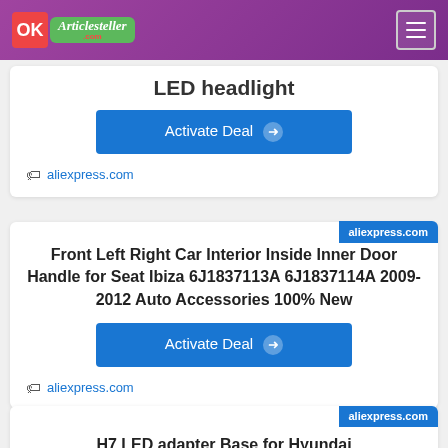Articlesteller.com
LED headlight
Activate Deal →
aliexpress.com
Front Left Right Car Interior Inside Inner Door Handle for Seat Ibiza 6J1837113A 6J1837114A 2009-2012 Auto Accessories 100% New
Activate Deal →
aliexpress.com
H7 LED adapter Base for Hyundai